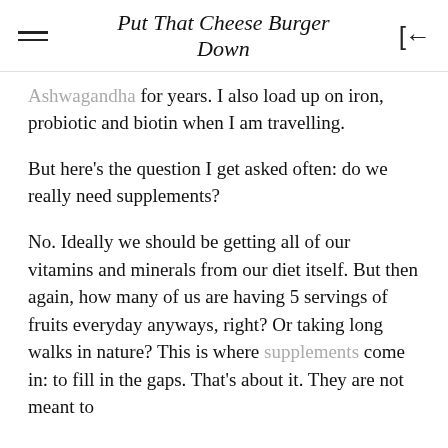Put That Cheese Burger Down
Ashwagandha for years. I also load up on iron, probiotic and biotin when I am travelling.
But here's the question I get asked often: do we really need supplements?
No. Ideally we should be getting all of our vitamins and minerals from our diet itself. But then again, how many of us are having 5 servings of fruits everyday anyways, right? Or taking long walks in nature? This is where supplements come in: to fill in the gaps. That's about it. They are not meant to